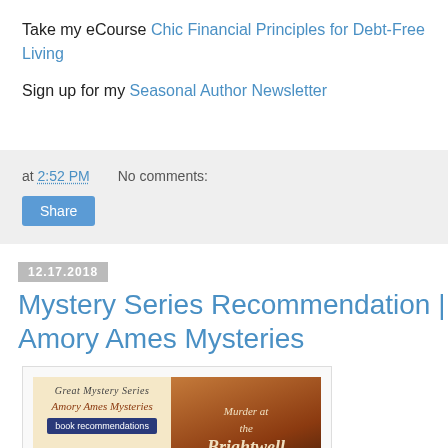Take my eCourse Chic Financial Principles for Debt-Free Living
Sign up for my Seasonal Author Newsletter
at 2:52 PM   No comments:
Share
12.17.2018
Mystery Series Recommendation | Amory Ames Mysteries
[Figure (photo): Book cover image showing 'Great Mystery Series / Amory Ames Mysteries / book recommendations' on a cream background alongside a book cover 'Murder at the Brightwell']